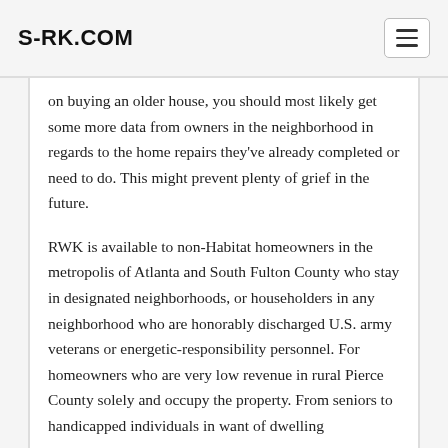S-RK.COM
on buying an older house, you should most likely get some more data from owners in the neighborhood in regards to the home repairs they've already completed or need to do. This might prevent plenty of grief in the future.
RWK is available to non-Habitat homeowners in the metropolis of Atlanta and South Fulton County who stay in designated neighborhoods, or householders in any neighborhood who are honorably discharged U.S. army veterans or energetic-responsibility personnel. For homeowners who are very low revenue in rural Pierce County solely and occupy the property. From seniors to handicapped individuals in want of dwelling